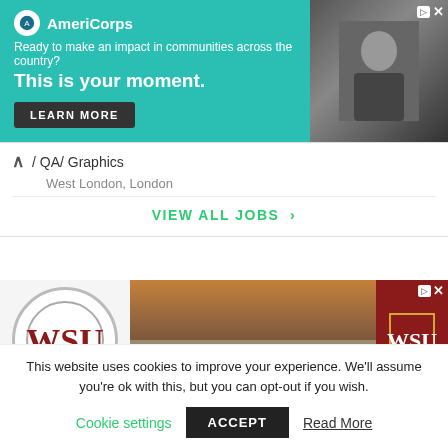[Figure (screenshot): AmeriCorps advertisement banner with teal background. Logo, tagline 'Ready to make an impact in communities across the country?', headline 'This is your moment.', and LEARN MORE button. Photo of person on right.]
/ QA/ Graphics
West London, London
VIEW ALL JOBS >
[Figure (screenshot): Washington State University advertisement showing WSU logo on left and campus entrance sign reading 'Washington State' with WSU shield on right, sunset background.]
This website uses cookies to improve your experience. We'll assume you're ok with this, but you can opt-out if you wish.
Cookie settings   ACCEPT   Read More